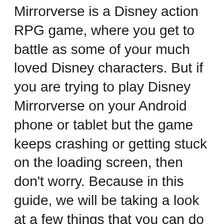Mirrorverse is a Disney action RPG game, where you get to battle as some of your much loved Disney characters. But if you are trying to play Disney Mirrorverse on your Android phone or tablet but the game keeps crashing or getting stuck on the loading screen, then don't worry. Because in this guide, we will be taking a look at a few things that you can do that should get the game working on your Android device.
You can either battle your way through the story, tower, or even battle your way through the dungeons, as well as a few other things. But the reason you are on this guide is due to crashing and loading